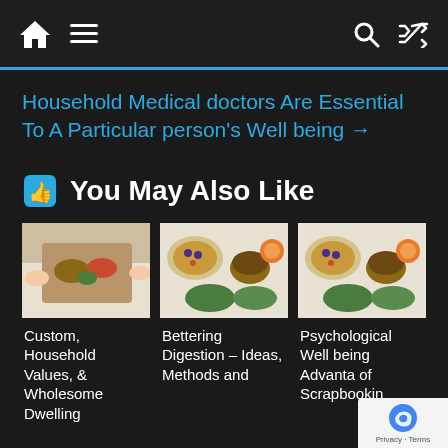Navigation bar with home icon, hamburger menu, search and shuffle icons
Household Medical doctors Are Essential To A Particular person's Well being →
👍 You May Also Like
[Figure (photo): Food on a wooden tray in bed - custom household values]
[Figure (photo): Overhead view of healthy food bowls and drinks]
[Figure (photo): Overhead view of healthy food bowls - psychological well being]
Custom, Household Values, & Wholesome Dwelling
Bettering Digestion – Ideas, Methods and
Psychological Well being Advanta of Scrapbookin